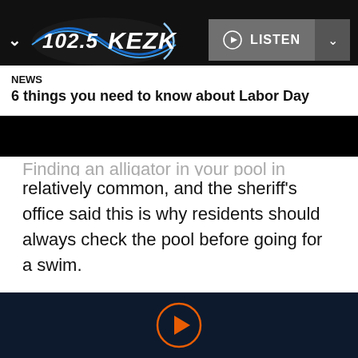[Figure (logo): 102.5 KEZK radio station logo with blue oval swoosh on dark background]
NEWS
6 things you need to know about Labor Day
Finding an alligator in your pool in Florida is relatively common, and the sheriff's office said this is why residents should always check the pool before going for a swim.
They also said that if you do find an alligator, don't